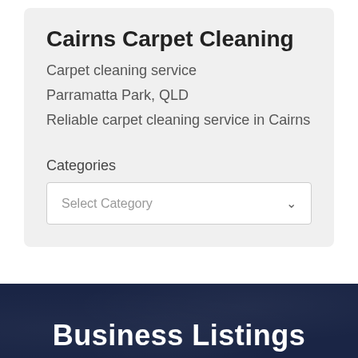Cairns Carpet Cleaning
Carpet cleaning service
Parramatta Park, QLD
Reliable carpet cleaning service in Cairns
Categories
Select Category
Business Listings